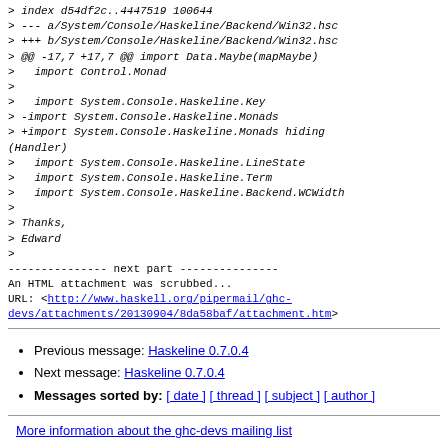> index d54df2c..4447519 100644
> --- a/System/Console/Haskeline/Backend/Win32.hsc
> +++ b/System/Console/Haskeline/Backend/Win32.hsc
> @@ -17,7 +17,7 @@ import Data.Maybe(mapMaybe)
>   import Control.Monad
>
>   import System.Console.Haskeline.Key
> -import System.Console.Haskeline.Monads
> +import System.Console.Haskeline.Monads hiding (Handler)
>   import System.Console.Haskeline.LineState
>   import System.Console.Haskeline.Term
>   import System.Console.Haskeline.Backend.WCWidth
>
> Thanks,
> Edward
>
--------------- next part ---------------
An HTML attachment was scrubbed...
URL: <http://www.haskell.org/pipermail/ghc-devs/attachments/20130904/8da58baf/attachment.htm>
Previous message: Haskeline 0.7.0.4
Next message: Haskeline 0.7.0.4
Messages sorted by: [ date ] [ thread ] [ subject ] [ author ]
More information about the ghc-devs mailing list